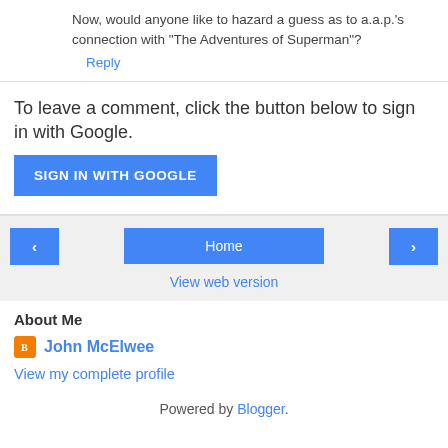Now, would anyone like to hazard a guess as to a.a.p.'s connection with "The Adventures of Superman"?
Reply
To leave a comment, click the button below to sign in with Google.
[Figure (other): SIGN IN WITH GOOGLE button]
[Figure (other): Navigation: left arrow button, Home button, right arrow button]
View web version
About Me
John McElwee
View my complete profile
Powered by Blogger.